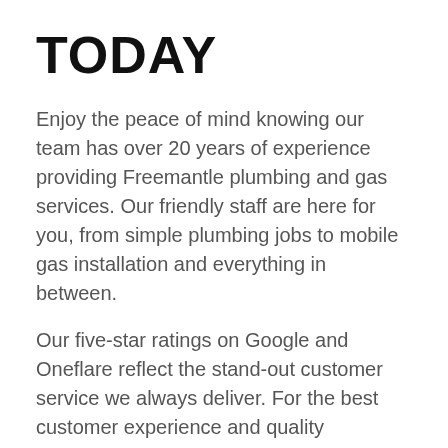TODAY
Enjoy the peace of mind knowing our team has over 20 years of experience providing Freemantle plumbing and gas services. Our friendly staff are here for you, from simple plumbing jobs to mobile gas installation and everything in between.
Our five-star ratings on Google and Oneflare reflect the stand-out customer service we always deliver. For the best customer experience and quality workmanship, Dynamic Plumbing & Gas is the only call you need to make.